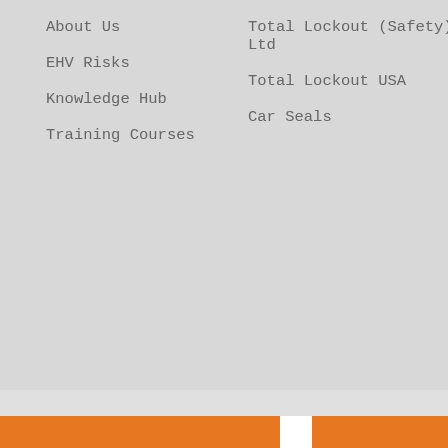About Us
EHV Risks
Knowledge Hub
Training Courses
Total Lockout (Safety) Ltd
Total Lockout USA
Car Seals
Office Locations
This site uses cookies. By continuing to browse the site you are agreeing to our use of cookies. More information
Continue